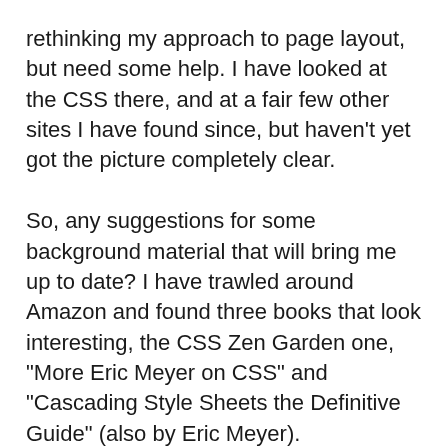rethinking my approach to page layout, but need some help. I have looked at the CSS there, and at a fair few other sites I have found since, but haven't yet got the picture completely clear.

So, any suggestions for some background material that will bring me up to date? I have trawled around Amazon and found three books that look interesting, the CSS Zen Garden one, "More Eric Meyer on CSS" and "Cascading Style Sheets the Definitive Guide" (also by Eric Meyer).

Any comments on this choice of books? Remember, I do